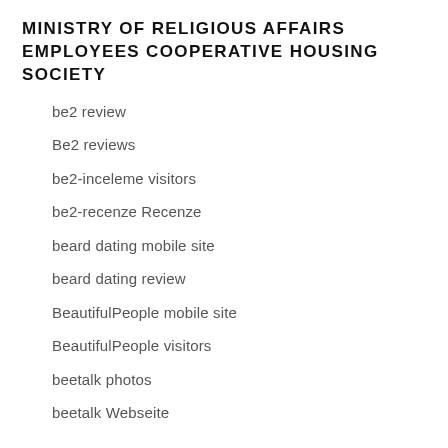MINISTRY OF RELIGIOUS AFFAIRS EMPLOYEES COOPERATIVE HOUSING SOCIETY
be2 review
Be2 reviews
be2-inceleme visitors
be2-recenze Recenze
beard dating mobile site
beard dating review
BeautifulPeople mobile site
BeautifulPeople visitors
beetalk photos
beetalk Webseite